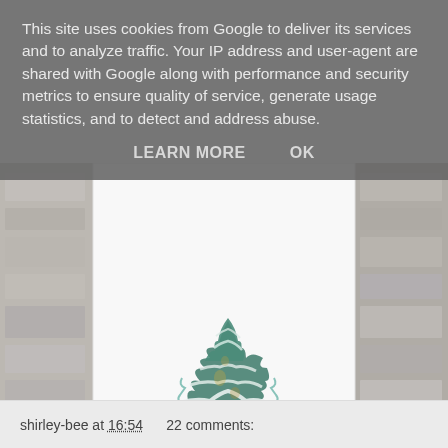This site uses cookies from Google to deliver its services and to analyze traffic. Your IP address and user-agent are shared with Google along with performance and security metrics to ensure quality of service, generate usage statistics, and to detect and address abuse.
LEARN MORE    OK
[Figure (photo): A watercolor-style Christmas card showing a green pine tree with snow on its branches, text 'MERRY CHRISTMAS' at the bottom, displayed against a stone/brick wall background.]
shirley-bee at 16:54    22 comments: